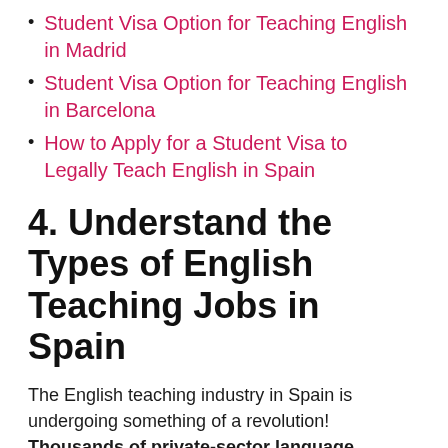Student Visa Option for Teaching English in Madrid
Student Visa Option for Teaching English in Barcelona
How to Apply for a Student Visa to Legally Teach English in Spain
4. Understand the Types of English Teaching Jobs in Spain
The English teaching industry in Spain is undergoing something of a revolution! Thousands of private-sector language schools throughout Spain employ TEFL certified English teachers